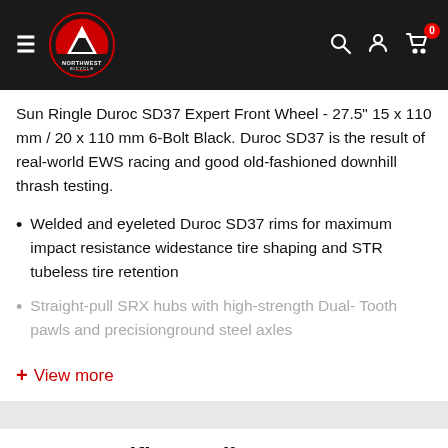Northwest Bicycle — Navigation header with logo, search, account, and cart icons
Sun Ringle Duroc SD37 Expert Front Wheel - 27.5" 15 x 110 mm / 20 x 110 mm 6-Bolt Black. Duroc SD37 is the result of real-world EWS racing and good old-fashioned downhill thrash testing.
Welded and eyeleted Duroc SD37 rims for maximum impact resistance widestance tire shaping and STR tubeless tire retention
Straight-pull SRX hubs with high-strength Dual- Tooth pawls and precisionground steel axles
+ View more
Item Specific Details